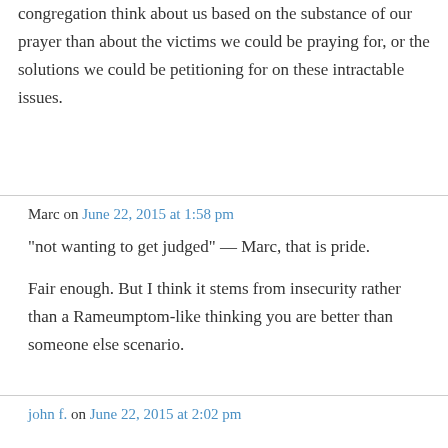congregation think about us based on the substance of our prayer than about the victims we could be praying for, or the solutions we could be petitioning for on these intractable issues.
Marc on June 22, 2015 at 1:58 pm
“not wanting to get judged” — Marc, that is pride.
Fair enough. But I think it stems from insecurity rather than a Rameumptom-like thinking you are better than someone else scenario.
john f. on June 22, 2015 at 2:02 pm